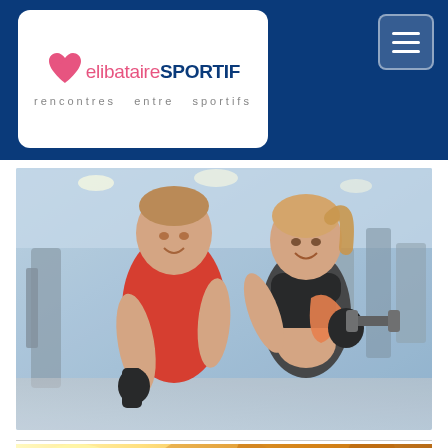celibataireSPORTIF - rencontres entre sportifs
[Figure (photo): A muscular man in a red tank top holding a dark water bottle and a fit blonde woman in a black sports bra holding an orange towel and dumbbell, standing together smiling in a gym with exercise equipment in the background]
[Figure (photo): Partial view of a second photo showing an autumn outdoor scene with sunlight and foliage]